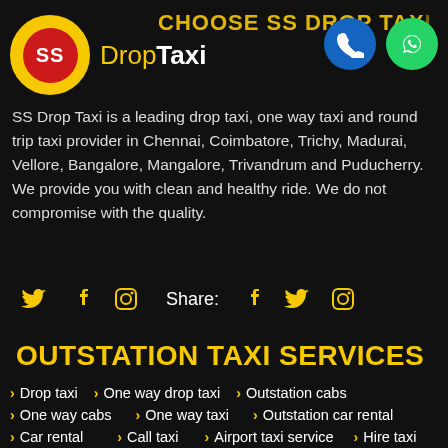[Figure (logo): SS DropTaxi logo — yellow circle with red inner circle containing 'SS' text, beside 'DropTaxi' brand name in yellow and white]
CHOOSE SS DROP TAXI
[Figure (other): Phone call icon button (blue circle) and WhatsApp icon button (green circle)]
SS Drop Taxi is a leading drop taxi, one way taxi and round trip taxi provider in Chennai, Coimbatore, Trichy, Madurai, Vellore, Bangalore, Mangalore, Trivandrum and Puducherry. We provide you with clean and healthy ride. We do not compromise with the quality.
[Figure (other): Social media icons row: Twitter, Facebook, Instagram, then Share: Facebook, Twitter, Instagram]
OUTSTATION TAXI SERVICES
Drop taxi
One way drop taxi
Outstation cabs
One way cabs
One way taxi
Outstation car rental
Car rental
Call taxi
Airport taxi service
Hire taxi
Outstation taxi
Tamilnadu call taxi